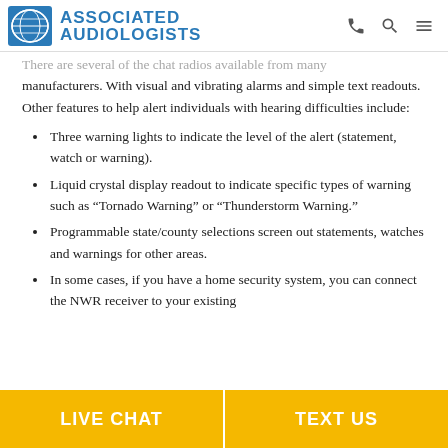Associated Audiologists
There are several of the chat radios available from many manufacturers. With visual and vibrating alarms and simple text readouts. Other features to help alert individuals with hearing difficulties include:
Three warning lights to indicate the level of the alert (statement, watch or warning).
Liquid crystal display readout to indicate specific types of warning such as “Tornado Warning” or “Thunderstorm Warning.”
Programmable state/county selections screen out statements, watches and warnings for other areas.
In some cases, if you have a home security system, you can connect the NWR receiver to your existing
LIVE CHAT | TEXT US